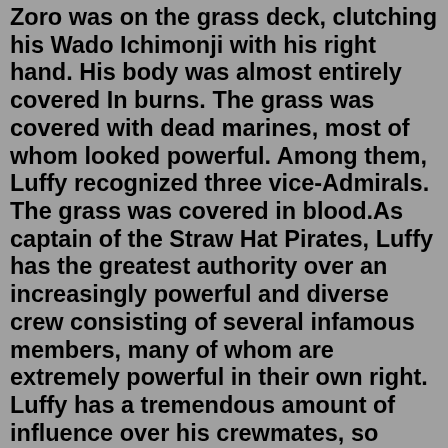Zoro was on the grass deck, clutching his Wado Ichimonji with his right hand. His body was almost entirely covered In burns. The grass was covered with dead marines, most of whom looked powerful. Among them, Luffy recognized three vice-Admirals. The grass was covered in blood.As captain of the Straw Hat Pirates, Luffy has the greatest authority over an increasingly powerful and diverse crew consisting of several infamous members, many of whom are extremely powerful in their own right. Luffy has a tremendous amount of influence over his crewmates, so much so that they all trust him with their lives, despite his reckless behavior and, in some cases, even because of ... Luffy X Hancock One Shots by keep wave. 17.1K 414 13. Different stories, Different timelines, Different Worlds, the romance soon to be couple of Monkey D. and Boa Hancock with different scenarios on how they love each othe... texttospeech. luffy. hancock. +10 more. # 5. Im Inlove with an Idiot by Destroyer_Milim_Nava. Scary Cat Noises. Iron Gym Installation. Ex Posting Sad Stuff. Radiology